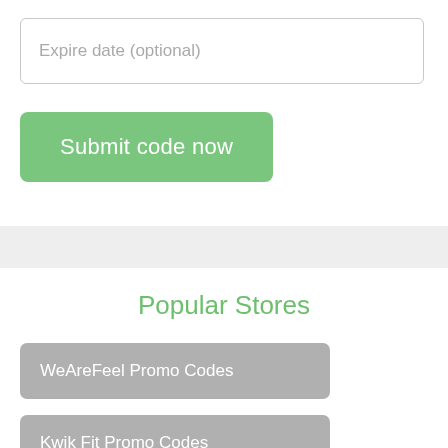Expire date (optional)
Submit code now
Popular Stores
WeAreFeel Promo Codes
Kwik Fit Promo Codes